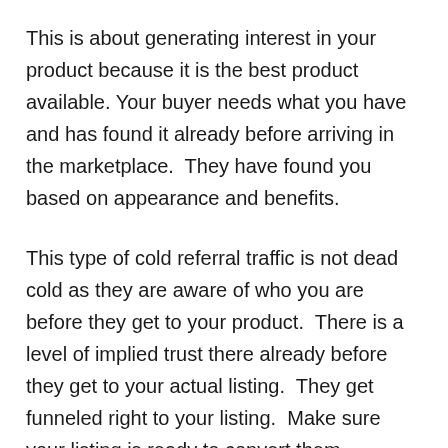This is about generating interest in your product because it is the best product available. Your buyer needs what you have and has found it already before arriving in the marketplace.  They have found you based on appearance and benefits.
This type of cold referral traffic is not dead cold as they are aware of who you are before they get to your product.  There is a level of implied trust there already before they get to your actual listing.  They get funneled right to your listing.  Make sure your listing is ready to convert them.